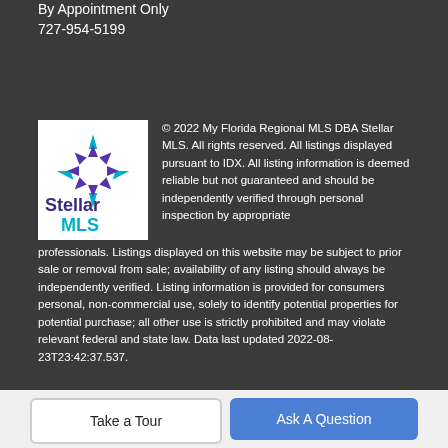By Appointment Only
727-954-5199
[Figure (logo): Stellar MLS logo with teal and purple snowflake/star design and the text 'Stellar MLS']
© 2022 My Florida Regional MLS DBA Stellar MLS. All rights reserved. All listings displayed pursuant to IDX. All listing information is deemed reliable but not guaranteed and should be independently verified through personal inspection by appropriate professionals. Listings displayed on this website may be subject to prior sale or removal from sale; availability of any listing should always be independently verified. Listing information is provided for consumers personal, non-commercial use, solely to identify potential properties for potential purchase; all other use is strictly prohibited and may violate relevant federal and state law. Data last updated 2022-08-23T23:42:37.537.
Take a Tour
Ask A Question